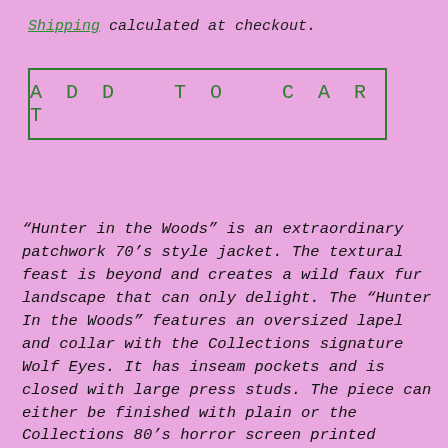Shipping calculated at checkout.
ADD TO CART
“Hunter in the Woods” is an extraordinary patchwork 70’s style jacket. The textural feast is beyond and creates a wild faux fur landscape that can only delight. The “Hunter In the Woods” features an oversized lapel and collar with the Collections signature Wolf Eyes. It has inseam pockets and is closed with large press studs. The piece can either be finished with plain or the Collections 80’s horror screen printed lining.